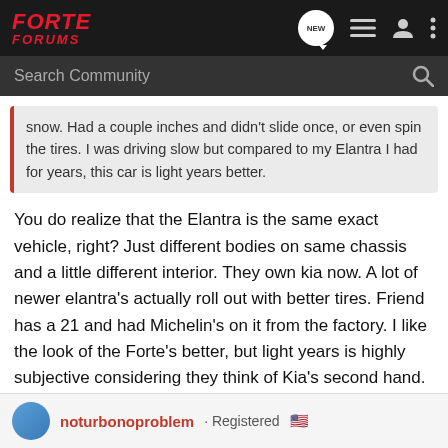FORTE FORUMS
Search Community
snow. Had a couple inches and didn't slide once, or even spin the tires. I was driving slow but compared to my Elantra I had for years, this car is light years better.
You do realize that the Elantra is the same exact vehicle, right? Just different bodies on same chassis and a little different interior. They own kia now. A lot of newer elantra's actually roll out with better tires. Friend has a 21 and had Michelin's on it from the factory. I like the look of the Forte's better, but light years is highly subjective considering they think of Kia's second hand. My Kia payment goes to Hyundai.
noturbonoproblem · Registered 🇺🇸